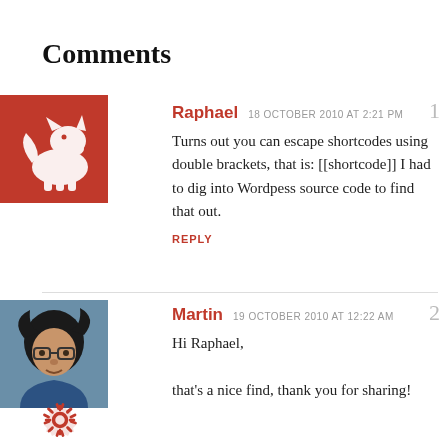Comments
Raphael  18 OCTOBER 2010 AT 2:21 PM
Turns out you can escape shortcodes using double brackets, that is: [[shortcode]] I had to dig into Wordpess source code to find that out.
REPLY
Martin  19 OCTOBER 2010 AT 12:22 AM
Hi Raphael,
that's a nice find, thank you for sharing!